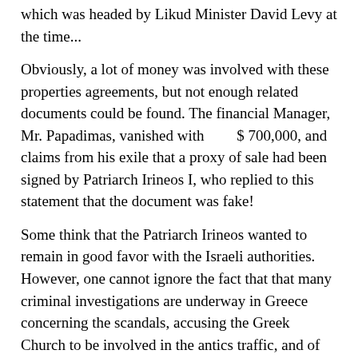which was headed by Likud Minister David Levy at the time...
Obviously, a lot of money was involved with these properties agreements, but not enough related documents could be found. The financial Manager, Mr. Papadimas, vanished with $ 700,000, and claims from his exile that a proxy of sale had been signed by Patriarch Irineos I, who replied to this statement that the document was fake!
Some think that the Patriarch Irineos wanted to remain in good favor with the Israeli authorities. However, one cannot ignore the fact that that many criminal investigations are underway in Greece concerning the scandals, accusing the Greek Church to be involved in the antics traffic, and of rigged trials and sexual offenses.
This movement of acquisition of property in the old town and the new city of Jerusalem is an indisputable fact, which worries the local population, because the number of settlers